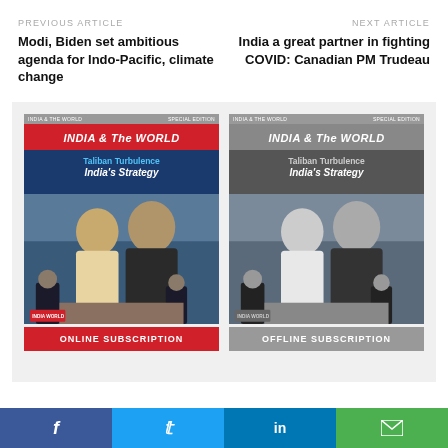PREVIOUS ARTICLE
Modi, Biden set ambitious agenda for Indo-Pacific, climate change
NEXT ARTICLE
India a great partner in fighting COVID: Canadian PM Trudeau
[Figure (illustration): Magazine cover - INDIA & The WORLD, Taliban Turbulence India's Strategy, Online Subscription (color version)]
[Figure (illustration): Magazine cover - INDIA & The WORLD, Taliban Turbulence India's Strategy, Offline Subscription (greyscale version)]